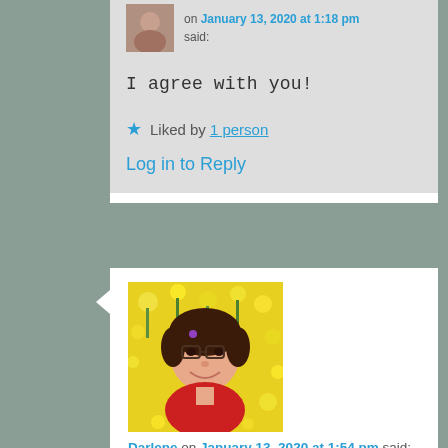on January 13, 2020 at 1:18 pm said:
I agree with you!
★ Liked by 1 person
Log in to Reply
[Figure (photo): Avatar photo of Darlene, a woman in a red top against yellow flowers background]
Darlene on January 13, 2020 at 1:54 pm said:
A perfect obituary. It certainly gives you a good idea of what a wonderful person she was. #SeniSal
★ Like